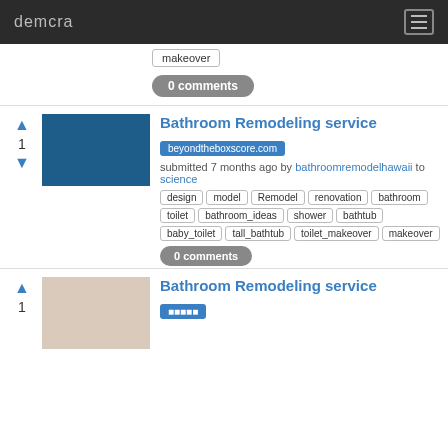demcra
makeover
0 comments
Bathroom Remodeling service
beyondtheboxscore.com
submitted 7 months ago by bathroomremodelhawaii to science
design, model, Remodel, renovation, bathroom, toilet, bathroom_ideas, shower, bathtub, baby_toilet, tall_bathtub, toilet_makeover, makeover
0 comments
Bathroom Remodeling service